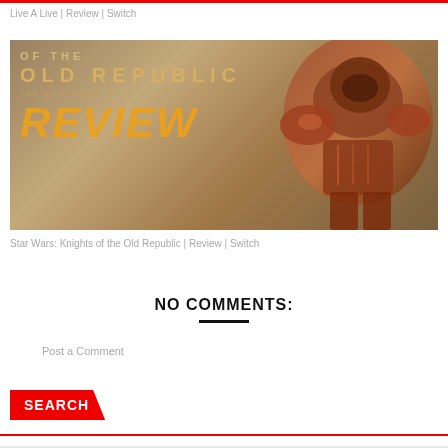Live A Live | Review | Switch
[Figure (photo): Star Wars Knights of the Old Republic Review banner image with golden text 'OF THE', 'OLD REPUBLIC', 'REVIEW' over a tan/brown background with armored character on right]
Star Wars: Knights of the Old Republic | Review | Switch
NO COMMENTS:
Post a Comment
SEARCH